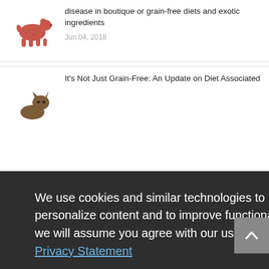disease in boutique or grain-free diets and exotic ingredients
Jun 04, 2018
It's Not Just Grain-Free: An Update on Diet Associated...
We use cookies and similar technologies to understand how you use our site, to personalize content and to improve functionality. By continuing to use this site, we will assume you agree with our use of these technologies as described in the
Privacy Statement
Accept and Continue